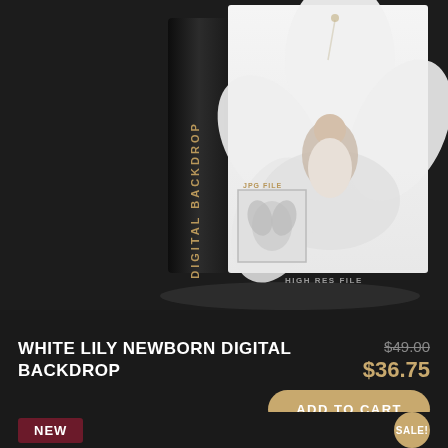[Figure (photo): Product mockup box showing White Lily Newborn Digital Backdrop. A dark box with gold 'DIGITAL BACKDROP' text on the spine, and a white front panel featuring a newborn baby swaddled in a white lily flower on a white background. A small thumbnail inset in the bottom-left of the front panel shows a close-up of hands/feet. Labels 'JPG FILE' and 'HIGH RES FILE' appear on the box.]
WHITE LILY NEWBORN DIGITAL BACKDROP
$49.00 $36.75
ADD TO CART
NEW
SALE!